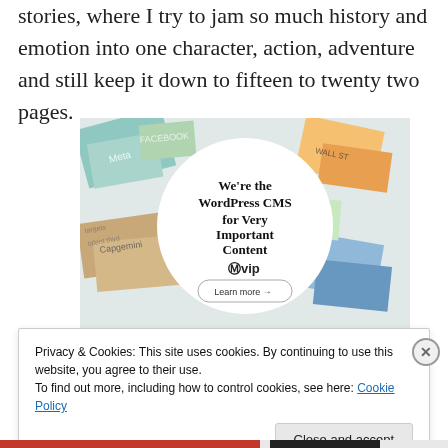stories, where I try to jam so much history and emotion into one character, action, adventure and still keep it down to fifteen to twenty two pages.
[Figure (illustration): WordPress VIP advertisement showing colorful document/card collage in background with a white circle overlay containing bold text 'We're the WordPress CMS for Very Important Content' with WordPress VIP logo and 'Learn more →' button]
Privacy & Cookies: This site uses cookies. By continuing to use this website, you agree to their use.
To find out more, including how to control cookies, see here: Cookie Policy
Close and accept